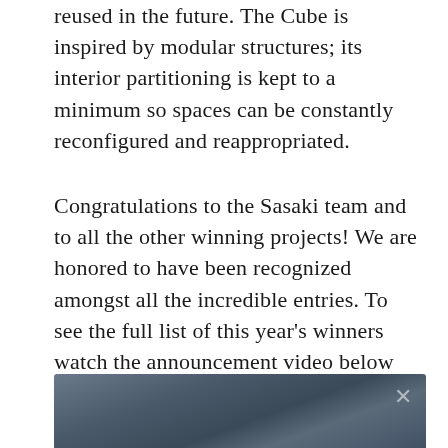reused in the future. The Cube is inspired by modular structures; its interior partitioning is kept to a minimum so spaces can be constantly reconfigured and reappropriated.
Congratulations to the Sasaki team and to all the other winning projects! We are honored to have been recognized amongst all the incredible entries. To see the full list of this year's winners watch the announcement video below produced by AIA New Hampshire.
[Figure (screenshot): A blurred video thumbnail with a close/dismiss button (×) in the upper right corner, showing a dark blurred outdoor or landscape scene.]